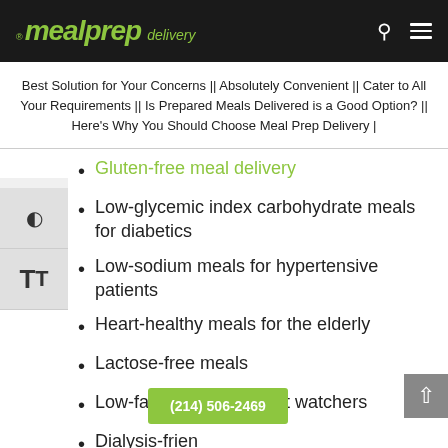meal prep delivery
Best Solution for Your Concerns || Absolutely Convenient || Cater to All Your Requirements || Is Prepared Meals Delivered is a Good Option? || Here's Why You Should Choose Meal Prep Delivery |
Gluten-free meal delivery
Low-glycemic index carbohydrate meals for diabetics
Low-sodium meals for hypertensive patients
Heart-healthy meals for the elderly
Lactose-free meals
Low-fat meals for weight watchers
Dialysis-frien...
(214) 506-2469